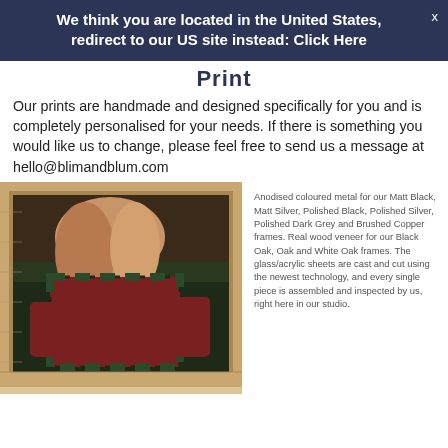We think you are located in the United States, redirect to our US site instead: Click Here
Print
Our prints are handmade and designed specifically for you and is completely personalised for your needs. If there is something you would like us to change, please feel free to send us a message at hello@blimandblum.com
[Figure (photo): A framed print with a wooden oak frame showing a photo of a person with long hair wearing a plaid shirt, outdoors in nature.]
Anodised coloured metal for our Matt Black, Matt Silver, Polished Black, Polished Silver, Polished Dark Grey and Brushed Copper frames. Real wood veneer for our Black Oak, Oak and White Oak frames. The glass/acrylic sheets are cast and cut using the newest technology, and every single piece is assembled and inspected by us, right here in our studio.